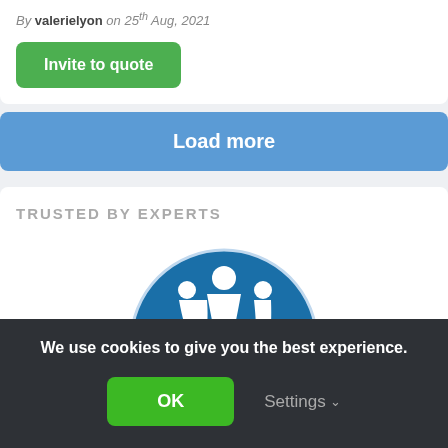By valerielyon on 25th Aug, 2021
Invite to quote
Load more
TRUSTED BY EXPERTS
[Figure (logo): Mumsnet Rated circular logo with blue background and white figures on top, 'mumsnet' text and 'RATED' in purple text at bottom]
We use cookies to give you the best experience.
OK
Settings